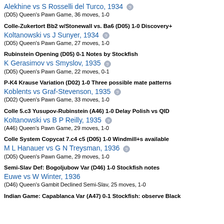Alekhine vs S Rosselli del Turco, 1934
(D05) Queen's Pawn Game, 36 moves, 1-0
Colle-Zukertort Bb2 w/Stonewall vs. Ba6 (D05) 1-0 Discovery+
Koltanowski vs J Sunyer, 1934
(D05) Queen's Pawn Game, 27 moves, 1-0
Rubinstein Opening (D05) 0-1 Notes by Stockfish
K Gerasimov vs Smyslov, 1935
(D05) Queen's Pawn Game, 22 moves, 0-1
P-K4 Krause Variation (D02) 1-0 Three possible mate patterns
Koblents vs Graf-Stevenson, 1935
(D02) Queen's Pawn Game, 33 moves, 1-0
Colle 5.c3 Yusupov-Rubinstein (A46) 1-0 Delay Polish vs QID
Koltanowski vs B P Reilly, 1935
(A46) Queen's Pawn Game, 29 moves, 1-0
Colle System Copycat 7.c4 c5 (D05) 1-0 Windmill+s available
M L Hanauer vs G N Treysman, 1936
(D05) Queen's Pawn Game, 29 moves, 1-0
Semi-Slav Def: Bogoljubow Var (D46) 1-0 Stockfish notes
Euwe vs W Winter, 1936
(D46) Queen's Gambit Declined Semi-Slav, 25 moves, 1-0
Indian Game: Capablanca Var (A47) 0-1 Stockfish: observe Black